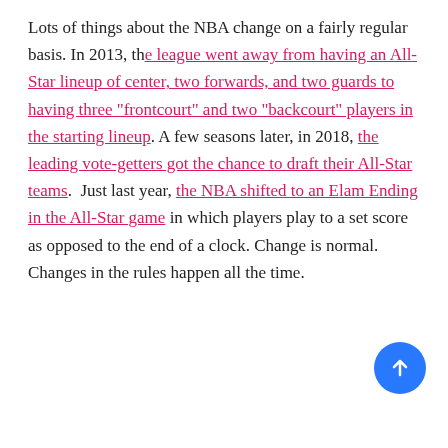Lots of things about the NBA change on a fairly regular basis. In 2013, th e league went away from having an All-Star lineup of center, two forwards, and two guards to having three "frontcourt" and two "backcourt" players in the starting lineup . A few seasons later, in 2018, the leading vote-getters got the chance to draft their All-Star teams .  Just last year, the NBA shifted to an Elam Ending in the All-Star game in which players play to a set score as opposed to the end of a clock. Change is normal. Changes in the rules happen all the time.